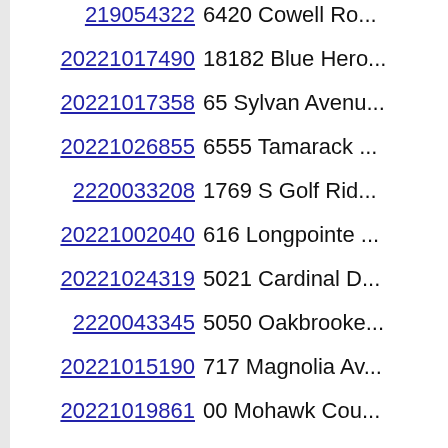219054322  6420 Cowell Ro...
20221017490  18182 Blue Hero...
20221017358  65 Sylvan Avenu...
20221026855  6555 Tamarack ...
2220033208  1769 S Golf Rid...
20221002040  616 Longpointe ...
20221024319  5021 Cardinal D...
2220043345  5050 Oakbrooke...
20221015190  717 Magnolia Av...
20221019861  00 Mohawk Cou...
20221025624  6161 Old Orcha...
2220040548  5012 N Redfarn...
20221018923  7234 Woodlore ...
20221022958  3677 Hollenshad...
20221013584  4865 Inkster Ro...
20221001680  4717 Heather
20221035234  30169 Kingsway...
20221013441  1933 Birmingha...
20221031761  0000 Westview ...
2220040097  3615 Erie Drive
20221034599  18177 Saxon Dr...
20221018091  1700 Cooley La...
20221031479  18 Barbour Lane...
20221007406  5342 Woodrun...